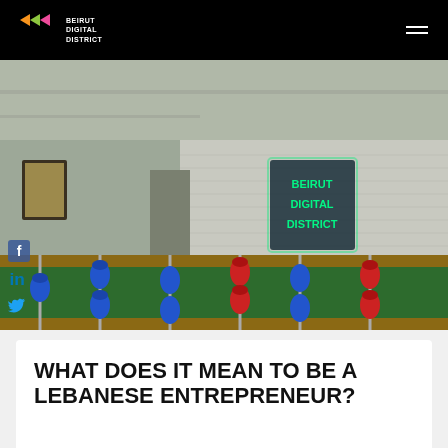Beirut Digital District
[Figure (photo): Interior of Beirut Digital District co-working space showing a foosball table in the foreground with blue and red player figures, and a glowing neon sign on a white brick wall in the background reading 'BEIRUT DIGITAL DISTRICT']
WHAT DOES IT MEAN TO BE A LEBANESE ENTREPRENEUR?